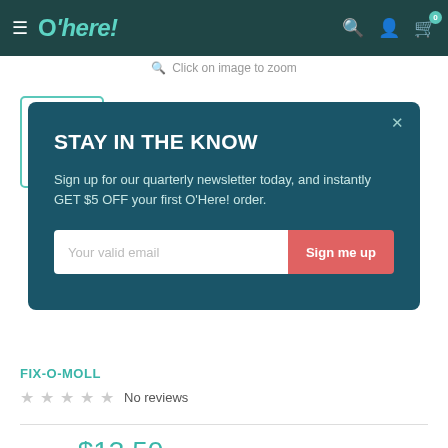O'here! — navigation header with hamburger menu, logo, search, account, and cart icons
Click on image to zoom
[Figure (screenshot): Newsletter signup modal overlay with dark teal background]
FIX-O-MOLL
No reviews
Price: $13.50